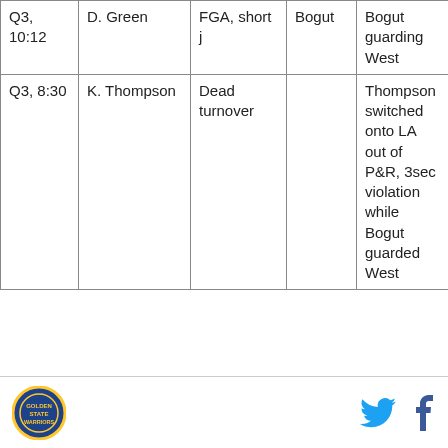| Q3, 10:12 | D. Green | FGA, short j | Bogut | Bogut guarding West |
| Q3, 8:30 | K. Thompson | Dead turnover |  | Thompson switched onto LA out of P&R, 3sec violation while Bogut guarded West |
[California state logo] [Twitter icon] [Facebook icon]